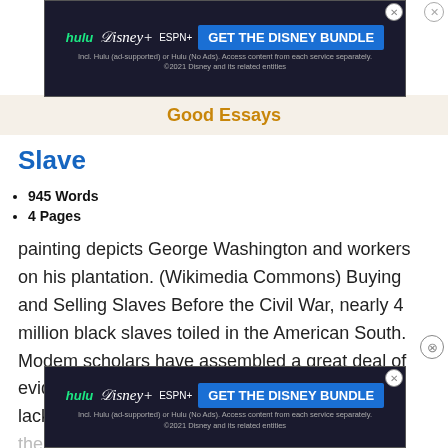[Figure (screenshot): Hulu Disney+ ESPN+ Get the Disney Bundle advertisement banner (top)]
Good Essays
Slave
945 Words
4 Pages
painting depicts George Washington and workers on his plantation. (Wikimedia Commons) Buying and Selling Slaves Before the Civil War, nearly 4 million black slaves toiled in the American South. Modem scholars have assembled a great deal of evidence showing that few slaves accepted their lack of freedom or enjoyed life on the plantation. As one ex-slave put it, “No day dawns for the slave... forever... ded in...
[Figure (screenshot): Hulu Disney+ ESPN+ Get the Disney Bundle advertisement banner (bottom)]